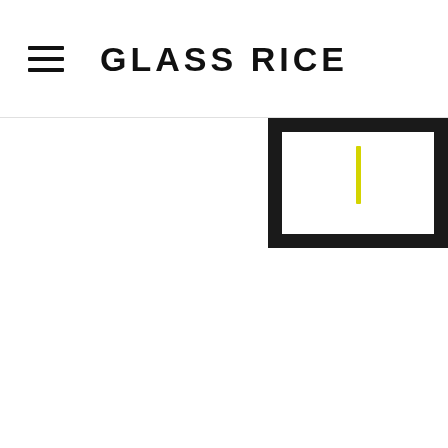GLASS RICE
[Figure (illustration): A partially visible framed artwork showing a thin vertical yellow/green line element on a white background within a thick black frame, cropped at the right edge of the page.]